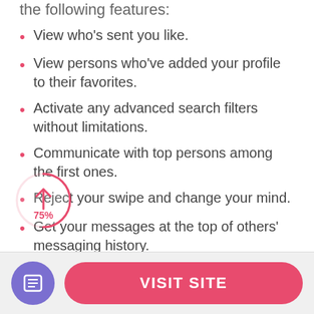the following features:
View who's sent you like.
View persons who've added your profile to their favorites.
Activate any advanced search filters without limitations.
Communicate with top persons among the first ones.
Reject your swipe and change your mind.
Get your messages at the top of others' messaging history.
Use the service anonymously. Incognito mode is an exciting way to find exciting people without
[Figure (infographic): Circular progress indicator showing 75% with an upward arrow, rendered in pink/red outline style]
VISIT SITE